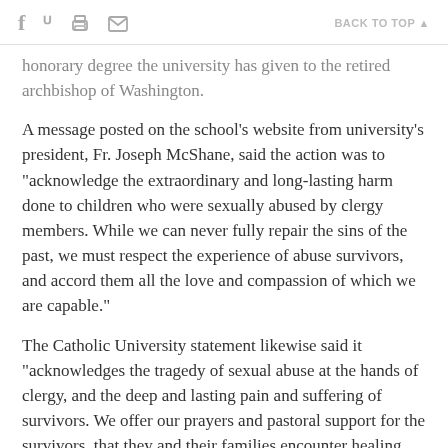f  [twitter] [print] [mail]   BACK TO TOP ▲
honorary degree the university has given to the retired archbishop of Washington.
A message posted on the school's website from university's president, Fr. Joseph McShane, said the action was to "acknowledge the extraordinary and long-lasting harm done to children who were sexually abused by clergy members. While we can never fully repair the sins of the past, we must respect the experience of abuse survivors, and accord them all the love and compassion of which we are capable."
The Catholic University statement likewise said it "acknowledges the tragedy of sexual abuse at the hands of clergy, and the deep and lasting pain and suffering of survivors. We offer our prayers and pastoral support for the survivors, that they and their families encounter healing and peace."